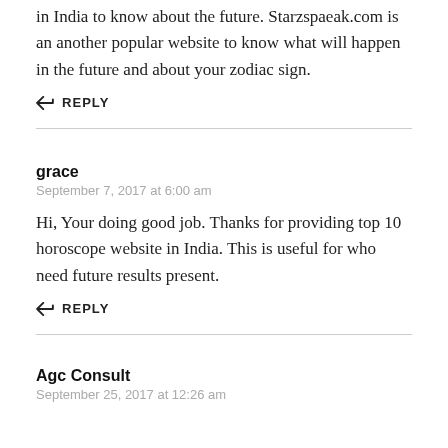in India to know about the future. Starzspaeak.com is an another popular website to know what will happen in the future and about your zodiac sign.
↩ REPLY
grace
September 7, 2017 at 6:00 am
Hi, Your doing good job. Thanks for providing top 10 horoscope website in India. This is useful for who need future results present.
↩ REPLY
Agc Consult
September 25, 2017 at 12:26 am